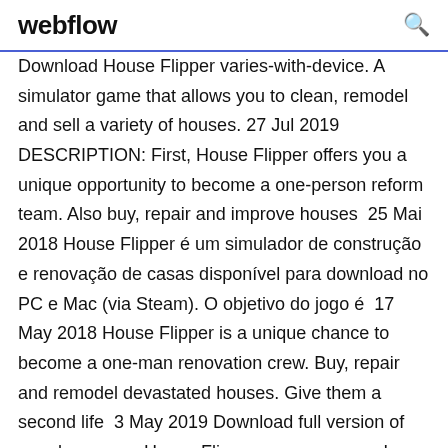webflow
Download House Flipper varies-with-device. A simulator game that allows you to clean, remodel and sell a variety of houses. 27 Jul 2019 DESCRIPTION: First, House Flipper offers you a unique opportunity to become a one-person reform team. Also buy, repair and improve houses  25 Mai 2018 House Flipper é um simulador de construção e renovação de casas disponível para download no PC e Mac (via Steam). O objetivo do jogo é  17 May 2018 House Flipper is a unique chance to become a one-man renovation crew. Buy, repair and remodel devastated houses. Give them a second life  3 May 2019 Download full version of popular game - House Flipper on your pc now!